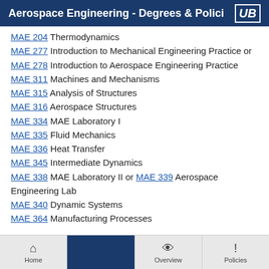Aerospace Engineering - Degrees & Polici
MAE 204 Thermodynamics
MAE 277 Introduction to Mechanical Engineering Practice or MAE 278 Introduction to Aerospace Engineering Practice
MAE 311 Machines and Mechanisms
MAE 315 Analysis of Structures
MAE 316 Aerospace Structures
MAE 334 MAE Laboratory I
MAE 335 Fluid Mechanics
MAE 336 Heat Transfer
MAE 345 Intermediate Dynamics
MAE 338 MAE Laboratory II or MAE 339 Aerospace Engineering Lab
MAE 340 Dynamic Systems
MAE 364 Manufacturing Processes
Home | Overview | Policies